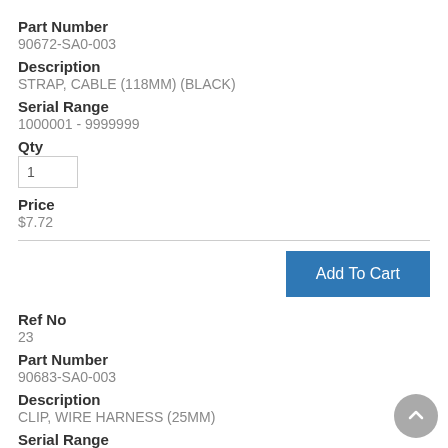Part Number
90672-SA0-003
Description
STRAP, CABLE (118MM) (BLACK)
Serial Range
1000001 - 9999999
Qty
1
Price
$7.72
Ref No
23
Part Number
90683-SA0-003
Description
CLIP, WIRE HARNESS (25MM)
Serial Range
1000001 - 9999999